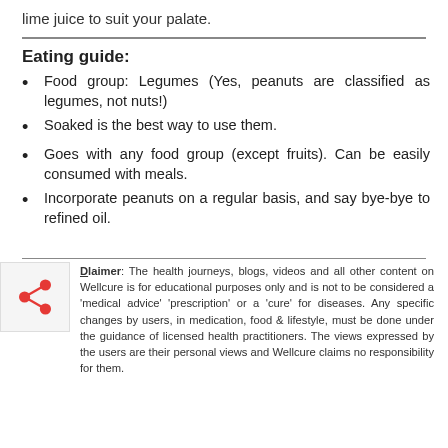lime juice to suit your palate.
Eating guide:
Food group: Legumes (Yes, peanuts are classified as legumes, not nuts!)
Soaked is the best way to use them.
Goes with any food group (except fruits). Can be easily consumed with meals.
Incorporate peanuts on a regular basis, and say bye-bye to refined oil.
Disclaimer: The health journeys, blogs, videos and all other content on Wellcure is for educational purposes only and is not to be considered a 'medical advice' 'prescription' or a 'cure' for diseases. Any specific changes by users, in medication, food & lifestyle, must be done under the guidance of licensed health practitioners. The views expressed by the users are their personal views and Wellcure claims no responsibility for them.